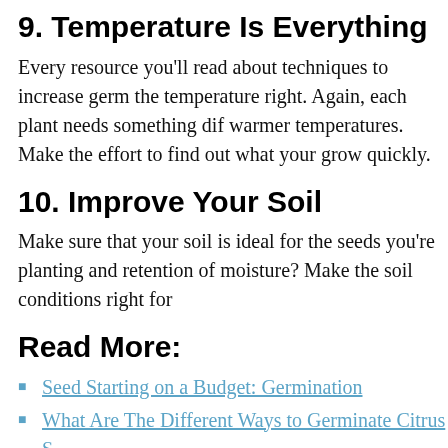9. Temperature Is Everything
Every resource you'll read about techniques to increase germ the temperature right. Again, each plant needs something dif warmer temperatures. Make the effort to find out what your grow quickly.
10. Improve Your Soil
Make sure that your soil is ideal for the seeds you're planting and retention of moisture? Make the soil conditions right for
Read More:
Seed Starting on a Budget: Germination
What Are The Different Ways to Germinate Citrus S
5 Cheap Substitutes for Seedling Trays